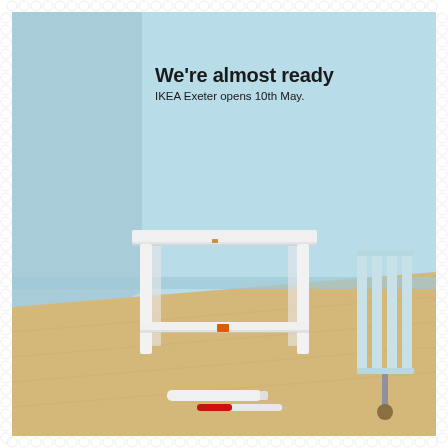[Figure (photo): IKEA advertisement showing a white two-shelf side table (mostly assembled, with one screw visible on the lower shelf) sitting in a pale blue room with light wood floor. A white rolled tube and a red screwdriver lie on the floor in front of the table. A white radiator is visible in the right background. The image is bordered by a decorative circular pattern on white margin.]
We're almost ready
IKEA Exeter opens 10th May.